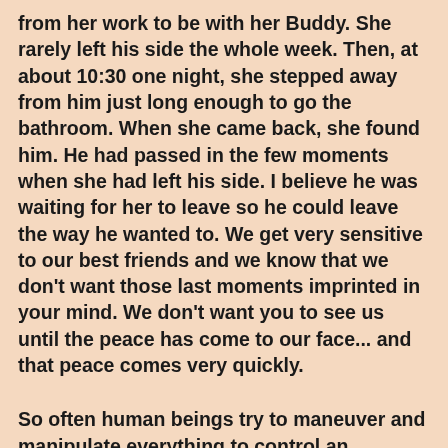from her work to be with her Buddy. She rarely left his side the whole week. Then, at about 10:30 one night, she stepped away from him just long enough to go the bathroom. When she came back, she found him. He had passed in the few moments when she had left his side. I believe he was waiting for her to leave so he could leave the way he wanted to. We get very sensitive to our best friends and we know that we don't want those last moments imprinted in your mind. We don't want you to see us until the peace has come to our face... and that peace comes very quickly.
So often human beings try to maneuver and manipulate everything to control an outcome, but eventually most of them learn that no matter how focused and determined they are, they cannot control much of anything at all. They are not supposed to control things because God is in control. Sometimes God steps into situations like this to prove it to the human.... but the human can